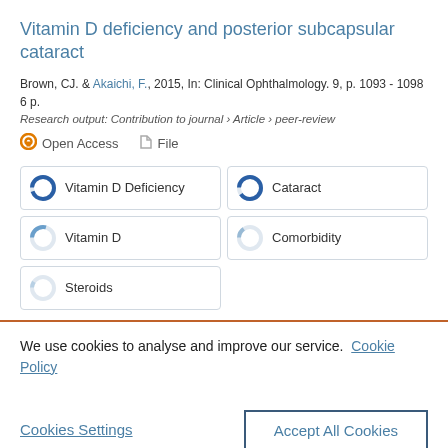Vitamin D deficiency and posterior subcapsular cataract
Brown, CJ. & Akaichi, F., 2015, In: Clinical Ophthalmology. 9, p. 1093 - 1098 6 p.
Research output: Contribution to journal › Article › peer-review
Open Access   File
[Figure (infographic): Five keyword badges with donut-style progress circle icons: Vitamin D Deficiency (nearly full blue circle), Cataract (nearly full blue circle), Vitamin D (partially filled circle ~30%), Comorbidity (partially filled circle ~15%), Steroids (small fill circle ~8%)]
We use cookies to analyse and improve our service. Cookie Policy
Cookies Settings
Accept All Cookies